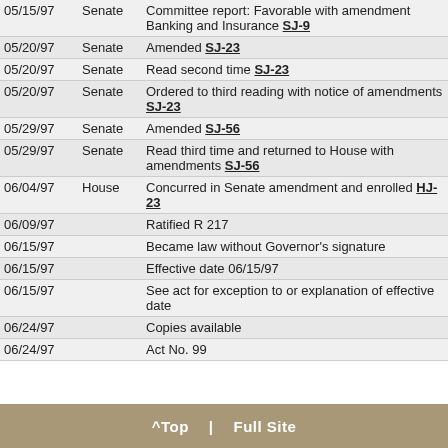| Date | Chamber | Action |
| --- | --- | --- |
| 05/15/97 | Senate | Committee report: Favorable with amendment Banking and Insurance SJ-9 |
| 05/20/97 | Senate | Amended SJ-23 |
| 05/20/97 | Senate | Read second time SJ-23 |
| 05/20/97 | Senate | Ordered to third reading with notice of amendments SJ-23 |
| 05/29/97 | Senate | Amended SJ-56 |
| 05/29/97 | Senate | Read third time and returned to House with amendments SJ-56 |
| 06/04/97 | House | Concurred in Senate amendment and enrolled HJ-23 |
| 06/09/97 |  | Ratified R 217 |
| 06/15/97 |  | Became law without Governor's signature |
| 06/15/97 |  | Effective date 06/15/97 |
| 06/15/97 |  | See act for exception to or explanation of effective date |
| 06/24/97 |  | Copies available |
| 06/24/97 |  | Act No. 99 |
^Top | Full Site